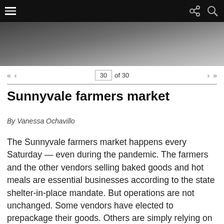Navigation bar with hamburger menu, share and search icons
[Figure (photo): Partial view of a black and white photograph, likely showing an outdoor scene at a farmers market]
30 of 30
Sunnyvale farmers market
By Vanessa Ochavillo
The Sunnyvale farmers market happens every Saturday — even during the pandemic. The farmers and the other vendors selling baked goods and hot meals are essential businesses according to the state shelter-in-place mandate. But operations are not unchanged. Some vendors have elected to prepackage their goods. Others are simply relying on buyers to temper